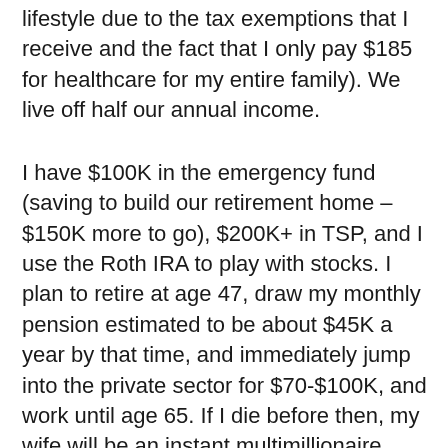lifestyle due to the tax exemptions that I receive and the fact that I only pay $185 for healthcare for my entire family). We live off half our annual income.
I have $100K in the emergency fund (saving to build our retirement home – $150K more to go), $200K+ in TSP, and I use the Roth IRA to play with stocks. I plan to retire at age 47, draw my monthly pension estimated to be about $45K a year by that time, and immediately jump into the private sector for $70-$100K, and work until age 65. If I die before then, my wife will be an instant multimillionaire thanks to two a $4 mil life insurance policy I took out in my late 20s (super cheap when you're young – but you'll need to justify – and I did so by using all my immediately family's mortgages and their